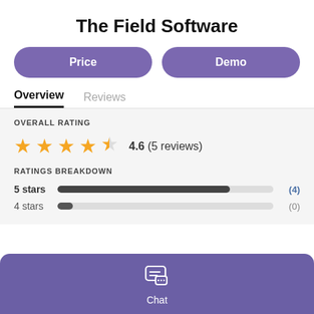The Field Software
Price | Demo
Overview | Reviews
OVERALL RATING
4.6 (5 reviews)
RATINGS BREAKDOWN
5 stars (4)
4 stars (0)
Chat